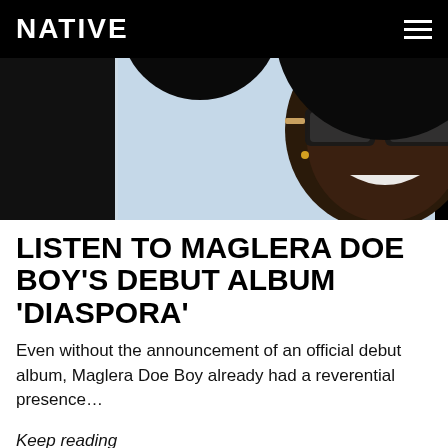NATIVE
[Figure (photo): Close-up photo of a smiling young Black man wearing stylish rectangular sunglasses, against a light blue background. The top portion is obscured by a dark circular shape (hat).]
LISTEN TO MAGLERA DOE BOY'S DEBUT ALBUM 'DIASPORA'
Even without the announcement of an official debut album, Maglera Doe Boy already had a reverential presence…
Keep reading